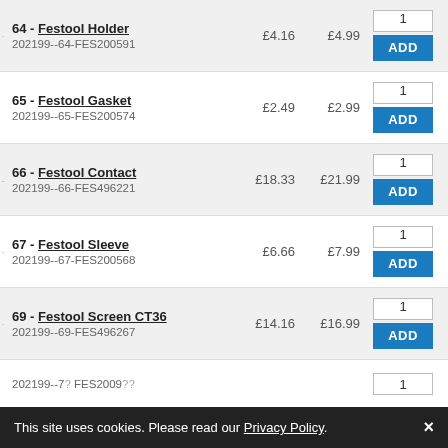64 - Festool Holder
202199--64-FES200591
£4.16  £4.99
65 - Festool Gasket
202199--65-FES200574
£2.49  £2.99
66 - Festool Contact
202199--66-FES496221
£18.33  £21.99
67 - Festool Sleeve
202199--67-FES200568
£6.66  £7.99
69 - Festool Screen CT36
202199--69-FES496267
£14.16  £16.99
202199--7? FES200??  (partial row)
This site uses cookies. Please read our Privacy Policy. ×